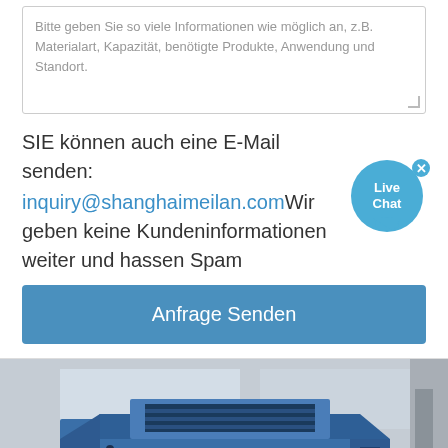Bitte geben Sie so viele Informationen wie möglich an, z.B. Materialart, Kapazität, benötigte Produkte, Anwendung und Standort.
SIE können auch eine E-Mail senden: inquiry@shanghaimeilan.com Wir geben keine Kundeninformationen weiter und hassen Spam
Anfrage Senden
[Figure (photo): Large blue industrial impact crusher or vibrating screen machine photographed in a factory/warehouse setting. The machine is painted bright blue with visible bolts and structural metal components.]